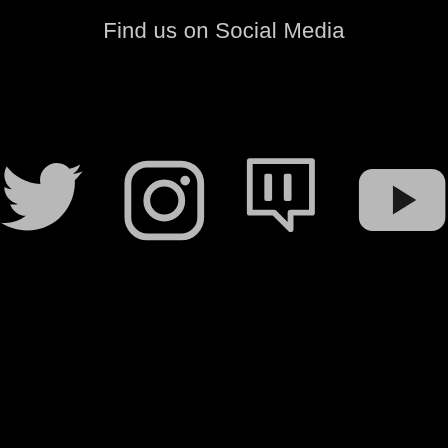Find us on Social Media
[Figure (illustration): Four social media icons in grey on black background: Twitter bird, Instagram camera, Twitch speech bubble with bars, YouTube play button]